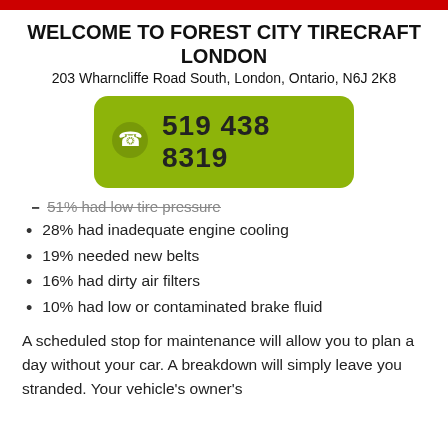WELCOME TO FOREST CITY TIRECRAFT LONDON
203 Wharncliffe Road South, London, Ontario, N6J 2K8
[Figure (other): Green rounded rectangle button with phone icon and phone number 519 438 8319]
51% had low tire pressure (partially visible, struck through)
28% had inadequate engine cooling
19% needed new belts
16% had dirty air filters
10% had low or contaminated brake fluid
A scheduled stop for maintenance will allow you to plan a day without your car. A breakdown will simply leave you stranded. Your vehicle's owner's